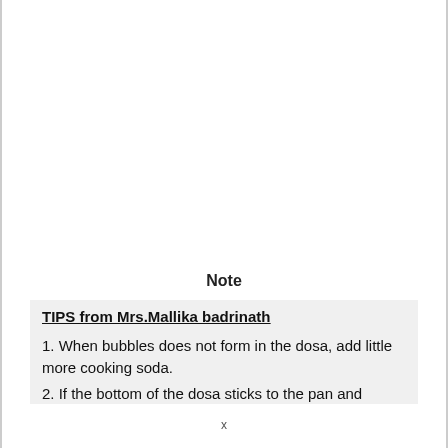Note
TIPS from Mrs.Mallika badrinath
1. When bubbles does not form in the dosa, add little more cooking soda.
2. If the bottom of the dosa sticks to the pan and
x